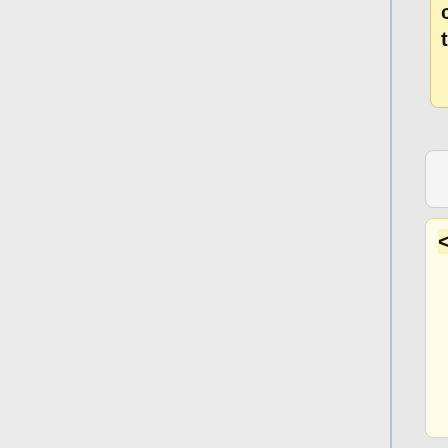commentary, illustrate their use.
<pre>
"tamulauncher is preferred over Job Arrays to submit a large number of individual jobs, especially when the run times of the commands are relatively short. It allows for better utilization of the nodes, puts less burden on the batch scheduler, and lessens